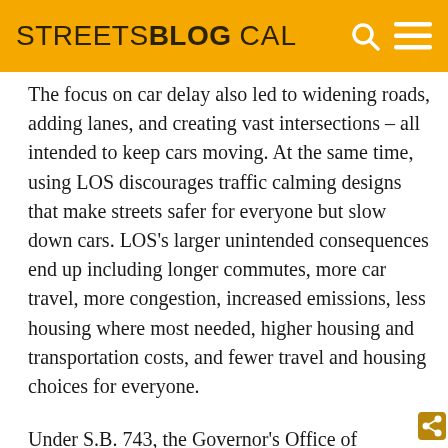STREETSBLOG CAL
The focus on car delay also led to widening roads, adding lanes, and creating vast intersections – all intended to keep cars moving. At the same time, using LOS discourages traffic calming designs that make streets safer for everyone but slow down cars. LOS's larger unintended consequences end up including longer commutes, more car travel, more congestion, increased emissions, less housing where most needed, higher housing and transportation costs, and fewer travel and housing choices for everyone.
Under S.B. 743, the Governor's Office of Planning and Research was given the task of coming up with a